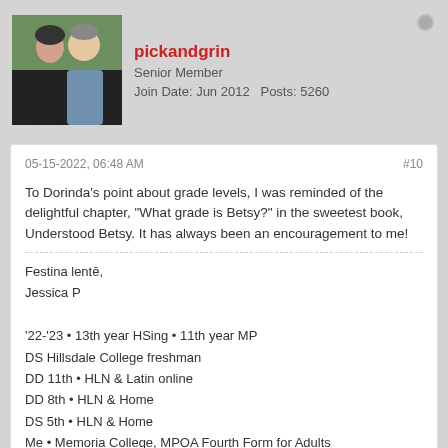pickandgrin — Senior Member — Join Date: Jun 2012 — Posts: 5260
05-15-2022, 06:48 AM #10
To Dorinda's point about grade levels, I was reminded of the delightful chapter, "What grade is Betsy?" in the sweetest book, Understood Betsy. It has always been an encouragement to me!
Festina lentē,
Jessica P

'22-'23 • 13th year HSing • 11th year MP
DS Hillsdale College freshman
DD 11th • HLN & Latin online
DD 8th • HLN & Home
DS 5th • HLN & Home
Me • Memoria College, MPOA Fourth Form for Adults

Teaching Third Form Latin and co-directing @
Highlands Latin Nashville Cottage School, est. 2016
howiecram